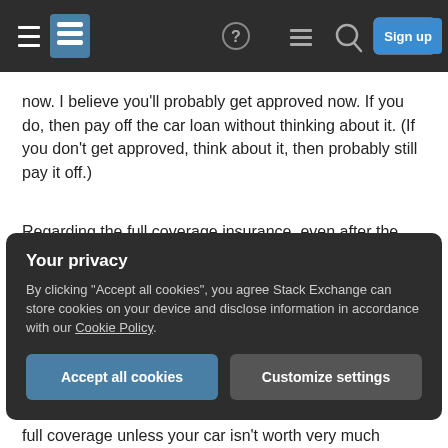[Figure (screenshot): Navigation bar with hamburger menu, Stack Exchange logo, help icon, chat icon, search icon, Log in and Sign up buttons on dark background]
now. I believe you'll probably get approved now. If you do, then pay off the car loan without thinking about it. (If you don't get approved, think about it, then probably still pay it off.)
Regarding the full coverage insurance, even after the loan is paid off and you aren't required to have it, you may still want to keep it. Even if you're the best driver on earth, if someone hits you and doesn't have insurance, or they have insurance and drive off, or a deer runs in front of you, etc, you'll
Your privacy
By clicking "Accept all cookies", you agree Stack Exchange can store cookies on your device and disclose information in accordance with our Cookie Policy.
full coverage unless your car isn't worth very much